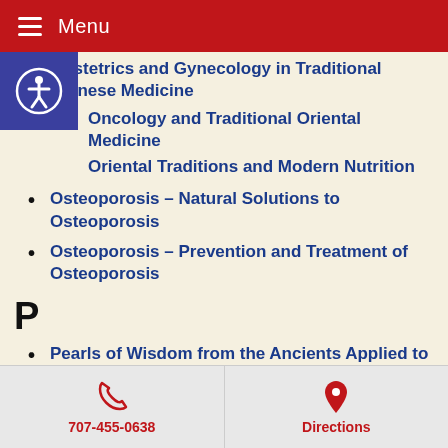Menu
Obstetrics and Gynecology in Traditional Chinese Medicine
Oncology and Traditional Oriental Medicine
Oriental Traditions and Modern Nutrition
Osteoporosis – Natural Solutions to Osteoporosis
Osteoporosis – Prevention and Treatment of Osteoporosis
P
Pearls of Wisdom from the Ancients Applied to the Modern World
Positive Energy – Tips on Developing Positive Energy
707-455-0638  Directions